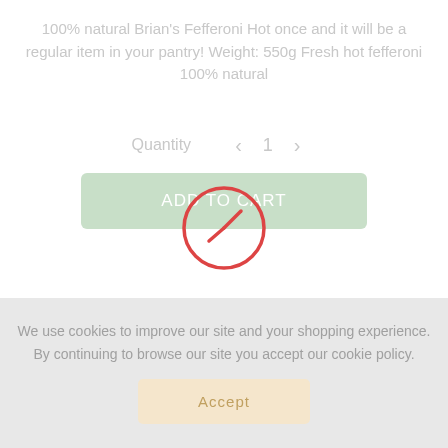100% natural Brian's Fefferoni Hot once and it will be a regular item in your pantry! Weight: 550g Fresh hot fefferoni 100% natural
[Figure (other): Quantity selector with left and right arrows showing value of 1, and an Add to Cart button below with a red clock/prohibition icon overlaid on top]
Share it
[Figure (other): Social sharing icons: Facebook, Twitter, LinkedIn]
We use cookies to improve our site and your shopping experience. By continuing to browse our site you accept our cookie policy.
Accept